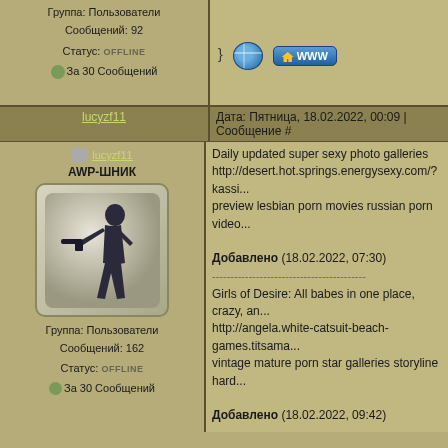Группа: Пользователи
Сообщений: 92
Статус: OFFLINE
За 30 Сообщений
} [icon] [WWW button]
lucyzf11
Дата: Пятница, 18.02.2022, 00:09 | Сообщение #
lucyzf11
AWP-ШНИК
Группа: Пользователи
Сообщений: 162
Статус: OFFLINE
За 30 Сообщений
Daily updated super sexy photo galleries
http://desert.hot.springs.energysexy.com/?kassidy
preview lesbian porn movies russian porn video

Добавлено (18.02.2022, 07:30)
----------------------------------------
Girls of Desire: All babes in one place, crazy, a...
http://angela.white-catsuit-beach-games.titsama...
vintage mature porn star galleries storyline hard...

Добавлено (18.02.2022, 09:42)
----------------------------------------
Sexy teen photo galleries
http://predating.hoterika.com/?post-angelique
bears porn video the general polish porn sex fre...

Добавлено (18.02.2022, 13:06)
----------------------------------------
Sexy pictures each day
http://arab.us.hoterika.com/?post-bethany
bad pink girl porn sissys porn very young porn x...

Добавлено (18.02.2022, 13:59)
----------------------------------------
Hookup Gallery with lot Hot...